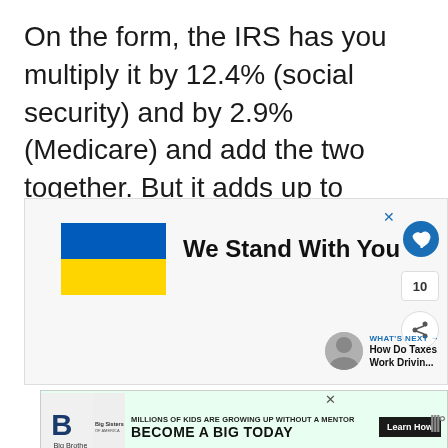On the form, the IRS has you multiply it by 12.4% (social security) and by 2.9% (Medicare) and add the two together. But it adds up to 15.3%
[Figure (screenshot): A web advertisement/widget showing the Ukrainian flag (blue and yellow) with the text 'We Stand With You', a close button (x), a heart/like button in blue circle, a count of 10, a share button, and a 'What's Next' teaser showing 'How Do Taxes Work Drivin...' with a user avatar.]
[Figure (screenshot): A banner advertisement for Big Brothers Big Sisters of America with green background. Text reads: 'MILLIONS OF KIDS ARE GROWING UP WITHOUT A MENTOR. BECOME A BIG TODAY' with a 'Learn How' button. Has a close (x) button and the Big Brothers Big Sisters logo on the left.]